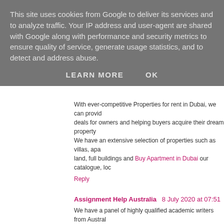This site uses cookies from Google to deliver its services and to analyze traffic. Your IP address and user-agent are shared with Google along with performance and security metrics to ensure quality of service, generate usage statistics, and to detect and address abuse.
LEARN MORE   OK
With ever-competitive Properties for rent in Dubai, we can provide deals for owners and helping buyers acquire their dream property. We have an extensive selection of properties such as villas, apartments, land, full buildings and Buy Apartment in Dubai our catalogue, loca
Reply
Assignment Help Australia  8 July 2020 at 07:51
We have a panel of highly qualified academic writers from Australia of all subjects and all levels with their university assignments, projects, providing the most effective online assignment writing se
Assignment help | Online assignment help | Essay help online
Reply
David Taylor  9 July 2020 at 10:44